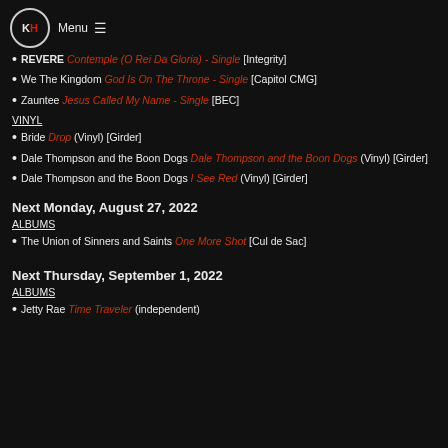KH Menu ≡
REVERE Contemple (O Rei Da Gloria) - Single [Integrity]
We The Kingdom God Is On The Throne - Single [Capitol CMG]
Zauntee Jesus Called My Name - Single [BEC]
VINYL
Bride Drop (Vinyl) [Girder]
Dale Thompson and the Boon Dogs Dale Thompson and the Boon Dogs (Vinyl) [Girder]
Dale Thompson and the Boon Dogs I See Red (Vinyl) [Girder]
Next Monday, August 27, 2022
ALBUMS
The Union of Sinners and Saints One More Shot [Cul de Sac]
Next Thursday, September 1, 2022
ALBUMS
Jetty Rae Time Traveler (independent)